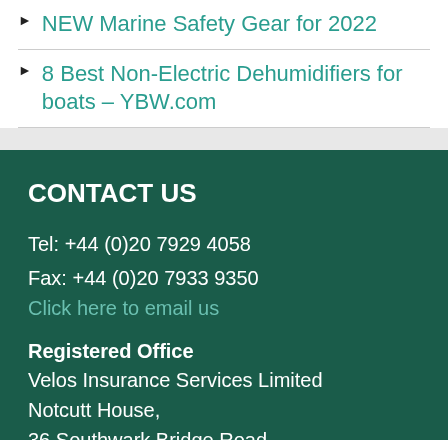NEW Marine Safety Gear for 2022
8 Best Non-Electric Dehumidifiers for boats – YBW.com
CONTACT US
Tel: +44 (0)20 7929 4058
Fax: +44 (0)20 7933 9350
Click here to email us
Registered Office
Velos Insurance Services Limited
Notcutt House,
36 Southwark Bridge Road,
London
SE1 9EU